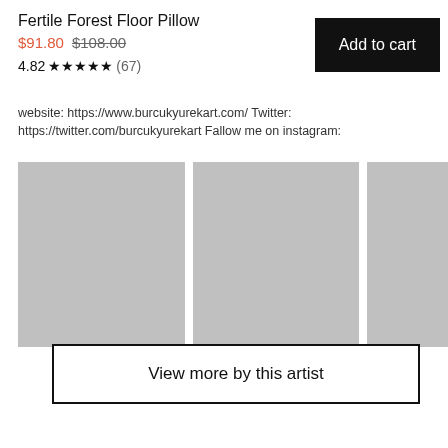Fertile Forest Floor Pillow
$91.80 $108.00
4.82 ★★★★★ (67)
Add to cart
website: https://www.burcukyurekart.com/ Twitter: https://twitter.com/burcukyurekart Fallow me on instagram:
[Figure (photo): Gray placeholder image 1]
[Figure (photo): Gray placeholder image 2]
[Figure (photo): Gray placeholder image 3]
View more by this artist